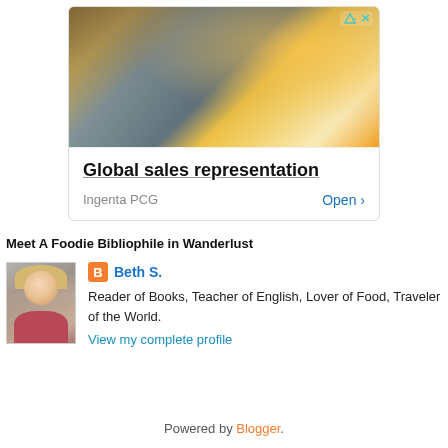[Figure (photo): Advertisement banner for Ingenta PCG showing people working on laptops, with headline 'Global sales representation' and 'Open' button]
Meet A Foodie Bibliophile in Wanderlust
[Figure (photo): Profile photo of Beth S., a smiling blonde woman]
Beth S.
Reader of Books, Teacher of English, Lover of Food, Traveler of the World.
View my complete profile
Powered by Blogger.